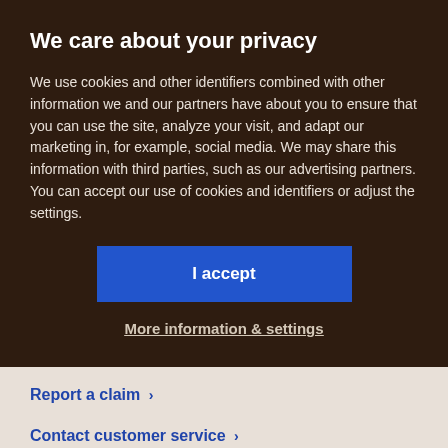We care about your privacy
We use cookies and other identifiers combined with other information we and our partners have about you to ensure that you can use the site, analyze your visit, and adapt our marketing in, for example, social media. We may share this information with third parties, such as our advertising partners. You can accept our use of cookies and identifiers or adjust the settings.
I accept
More information & settings
Report a claim
Contact customer service
Login to My Pages